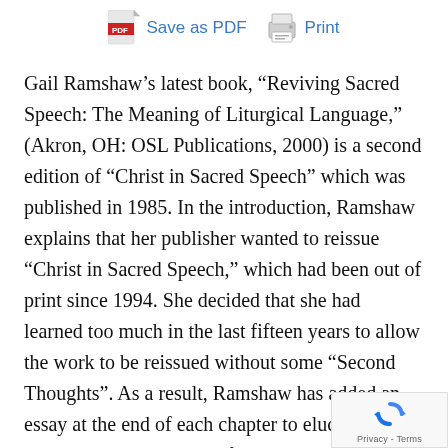Save as PDF   Print
Gail Ramshaw’s latest book, “Reviving Sacred Speech: The Meaning of Liturgical Language,” (Akron, OH: OSL Publications, 2000) is a second edition of “Christ in Sacred Speech” which was published in 1985. In the introduction, Ramshaw explains that her publisher wanted to reissue “Christ in Sacred Speech,” which had been out of print since 1994. She decided that she had learned too much in the last fifteen years to allow the work to be reissued without some “Second Thoughts”. As a result, Ramshaw has added an essay at the end of each chapter to elucidate her more recent knowledge of the topic at hand. She also added a “Second Thoughts Bibliography” to offer readers the